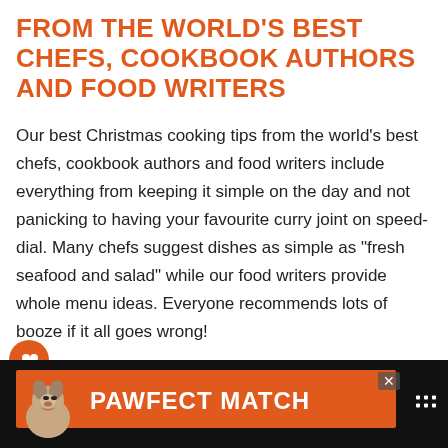FROM THE WORLD'S BEST CHEFS, COOKBOOK AUTHORS AND FOOD WRITERS
Our best Christmas cooking tips from the world's best chefs, cookbook authors and food writers include everything from keeping it simple on the day and not panicking to having your favourite curry joint on speed-dial. Many chefs suggest dishes as simple as “fresh seafood and salad” while our food writers provide whole menu ideas. Everyone recommends lots of booze if it all goes wrong!
[Figure (other): Social sharing icons: a heart icon in an orange circle and a share icon in a white circle]
[Figure (other): Advertisement banner at bottom: dark background with orange rectangle, dog illustration, and 'PAWFECT MATCH' text in white]